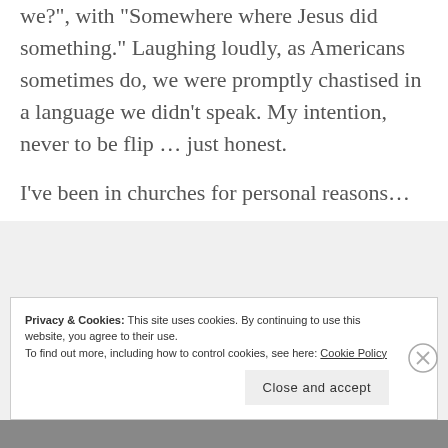we?", with "Somewhere where Jesus did something." Laughing loudly, as Americans sometimes do, we were promptly chastised in a language we didn't speak. My intention, never to be flip … just honest.
I've been in churches for personal reasons...
Privacy & Cookies: This site uses cookies. By continuing to use this website, you agree to their use.
To find out more, including how to control cookies, see here: Cookie Policy